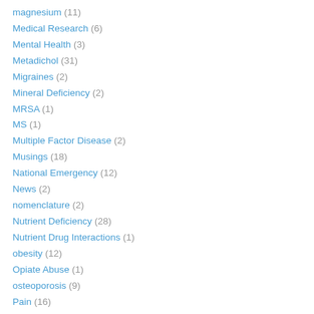magnesium (11)
Medical Research (6)
Mental Health (3)
Metadichol (31)
Migraines (2)
Mineral Deficiency (2)
MRSA (1)
MS (1)
Multiple Factor Disease (2)
Musings (18)
National Emergency (12)
News (2)
nomenclature (2)
Nutrient Deficiency (28)
Nutrient Drug Interactions (1)
obesity (12)
Opiate Abuse (1)
osteoporosis (9)
Pain (16)
Pandemics (1)